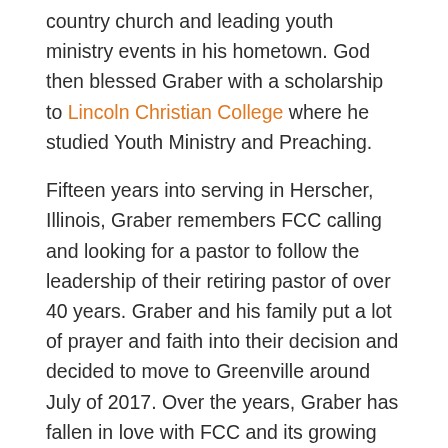country church and leading youth ministry events in his hometown. God then blessed Graber with a scholarship to Lincoln Christian College where he studied Youth Ministry and Preaching.
Fifteen years into serving in Herscher, Illinois, Graber remembers FCC calling and looking for a pastor to follow the leadership of their retiring pastor of over 40 years. Graber and his family put a lot of prayer and faith into their decision and decided to move to Greenville around July of 2017. Over the years, Graber has fallen in love with FCC and its growing congregation. “I love FCC’s commitment to Christ and its desire to share the Hope we have in Him!” Graber has been blessed with a fruitful career as a pastor and it has come with many highlights. “The greatest highlights for me as a pastor are most certainly watching people come to a personal relationship with Jesus. Every